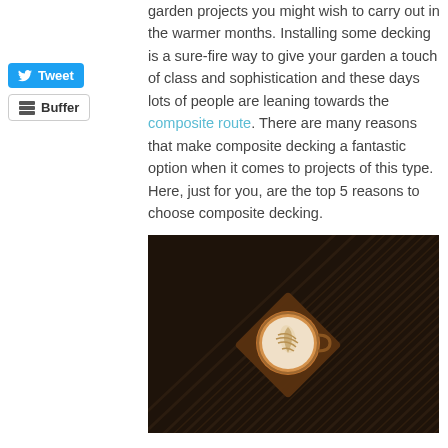garden projects you might wish to carry out in the warmer months. Installing some decking is a sure-fire way to give your garden a touch of class and sophistication and these days lots of people are leaning towards the composite route. There are many reasons that make composite decking a fantastic option when it comes to projects of this type. Here, just for you, are the top 5 reasons to choose composite decking.
[Figure (photo): Overhead view of dark composite decking boards with a latte art coffee cup on a wooden coaster placed at the center, shot from above at a diagonal angle.]
Ready to Use
Because of its nature, composite decking is ready